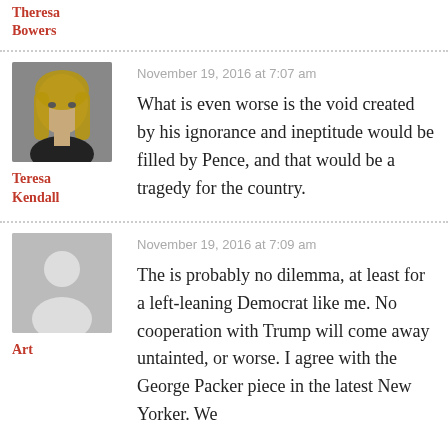Theresa Bowers
November 19, 2016 at 7:07 am
What is even worse is the void created by his ignorance and ineptitude would be filled by Pence, and that would be a tragedy for the country.
Teresa Kendall
November 19, 2016 at 7:09 am
The is probably no dilemma, at least for a left-leaning Democrat like me. No cooperation with Trump will come away untainted, or worse. I agree with the George Packer piece in the latest New Yorker. We
Art